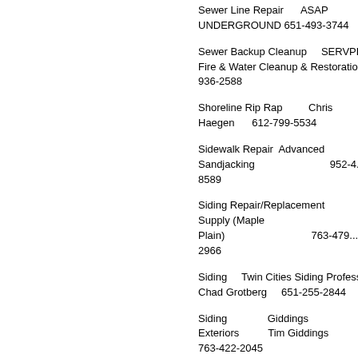Sewer Line Repair   ASAP UNDERGROUND 651-493-3744
Sewer Backup Cleanup   SERVPRO Fire & Water Cleanup & Restoration 1-8... 936-2588
Shoreline Rip Rap   Chris Haegen   612-799-5534
Sidewalk Repair  Advanced Sandjacking   952-4... 8589
Siding Repair/Replacement   ABC Supply (Maple Plain)   763-479... 2966
Siding   Twin Cities Siding Professioanls... Chad Grotberg   651-255-2844
Siding   Giddings Exteriors   Tim Giddings   763-422-2045